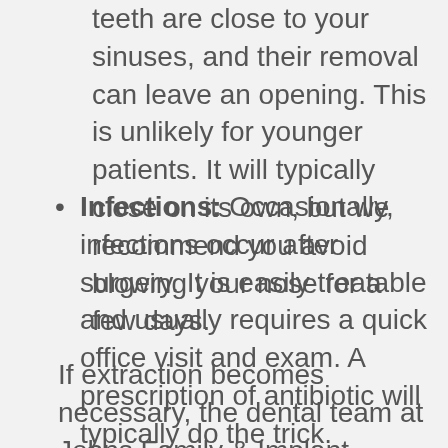teeth are close to your sinuses, and their removal can leave an opening. This is unlikely for younger patients. It will typically close on its own, but we recommend you avoid blowing your nose for a few days.
Infections: Occasionally, infections occur after surgery. It is easily treatable and usually requires a quick office visit and exam. A prescription of antibiotic will typically do the trick.
If extraction becomes necessary, the dental team at Johns Family & Implant Dentistry will provide the safest, most comfortable extraction procedure